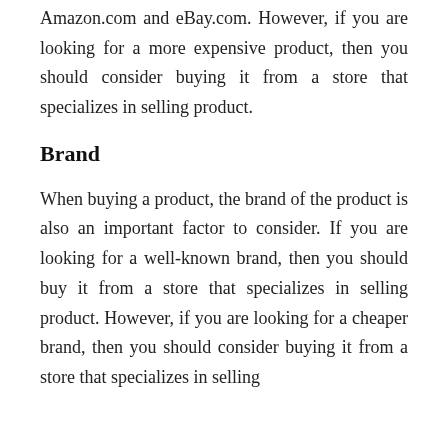Amazon.com and eBay.com. However, if you are looking for a more expensive product, then you should consider buying it from a store that specializes in selling product.
Brand
When buying a product, the brand of the product is also an important factor to consider. If you are looking for a well-known brand, then you should buy it from a store that specializes in selling product. However, if you are looking for a cheaper brand, then you should consider buying it from a store that specializes in selling